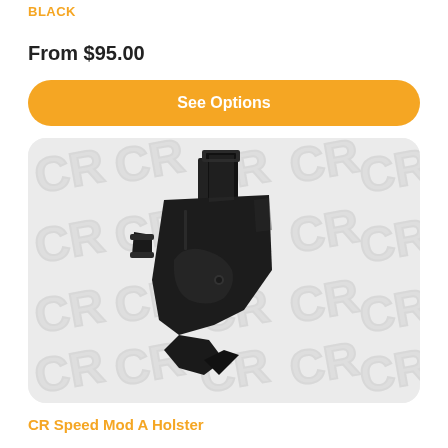BLACK
From $95.00
See Options
[Figure (photo): Black CR Speed Mod A holster product photo on a light grey background with repeating CR brand watermark logo pattern]
CR Speed Mod A Holster